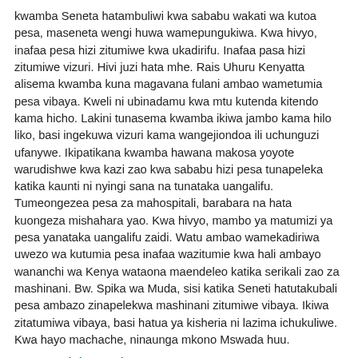kwamba Seneta hatambuliwi kwa sababu wakati wa kutoa pesa, maseneta wengi huwa wamepungukiwa. Kwa hivyo, inafaa pesa hizi zitumiwe kwa ukadirifu. Inafaa pasa hizi zitumiwe vizuri. Hivi juzi hata mhe. Rais Uhuru Kenyatta alisema kwamba kuna magavana fulani ambao wametumia pesa vibaya. Kweli ni ubinadamu kwa mtu kutenda kitendo kama hicho. Lakini tunasema kwamba ikiwa jambo kama hilo liko, basi ingekuwa vizuri kama wangejiondoa ili uchunguzi ufanywe. Ikipatikana kwamba hawana makosa yoyote warudishwe kwa kazi zao kwa sababu hizi pesa tunapeleka katika kaunti ni nyingi sana na tunataka uangalifu. Tumeongezea pesa za mahospitali, barabara na hata kuongeza mishahara yao. Kwa hivyo, mambo ya matumizi ya pesa yanataka uangalifu zaidi. Watu ambao wamekadiriwa uwezo wa kutumia pesa inafaa wazitumie kwa hali ambayo wananchi wa Kenya wataona maendeleo katika serikali zao za mashinani. Bw. Spika wa Muda, sisi katika Seneti hatutakubali pesa ambazo zinapelekwa mashinani zitumiwe vibaya. Ikiwa zitatumiwa vibaya, basi hatua ya kisheria ni lazima ichukuliwe. Kwa hayo machache, ninaunga mkono Mswada huu.
Peter Korinko Mositet
On a point of order, Mr. Temporary Speaker, Sir. Considering that this is one of the most important Bills for this Senate, and I